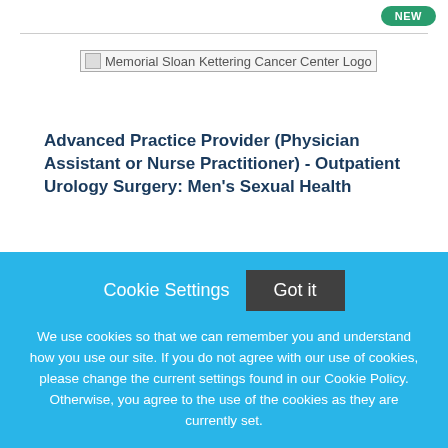[Figure (logo): Memorial Sloan Kettering Cancer Center Logo placeholder image]
Advanced Practice Provider (Physician Assistant or Nurse Practitioner) - Outpatient Urology Surgery: Men's Sexual Health
Memorial Sloan Kettering Cancer Center
New York, New York
Cookie Settings   Got it
We use cookies so that we can remember you and understand how you use our site. If you do not agree with our use of cookies, please change the current settings found in our Cookie Policy. Otherwise, you agree to the use of the cookies as they are currently set.